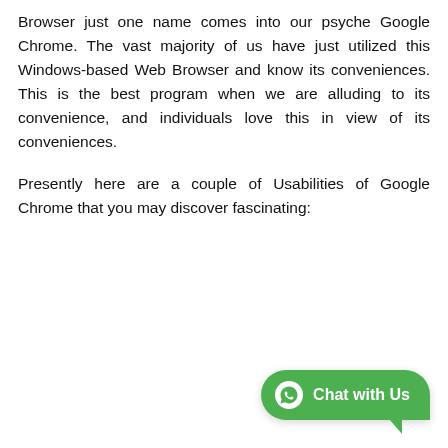Browser just one name comes into our psyche Google Chrome. The vast majority of us have just utilized this Windows-based Web Browser and know its conveniences. This is the best program when we are alluding to its convenience, and individuals love this in view of its conveniences.
Presently here are a couple of Usabilities of Google Chrome that you may discover fascinating:
[Figure (other): WhatsApp 'Chat with Us' button in green with WhatsApp icon, positioned at bottom right]